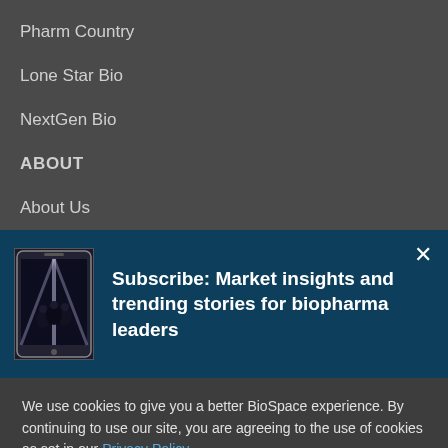Pharm Country
Lone Star Bio
NextGen Bio
ABOUT
About Us
[Figure (screenshot): Subscribe banner with phone image and text: Subscribe: Market insights and trending stories for biopharma leaders]
We use cookies to give you a better BioSpace experience. By continuing to use our site, you are agreeing to the use of cookies as set in our Privacy Policy.
Accept